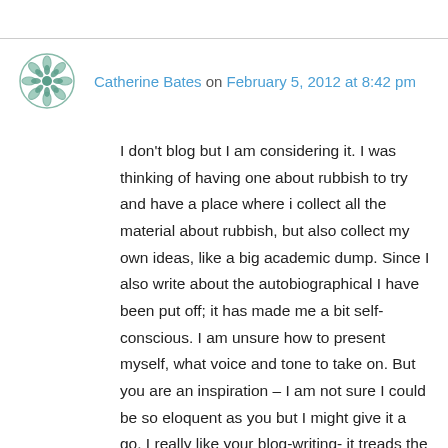Catherine Bates on February 5, 2012 at 8:42 pm
I don't blog but I am considering it. I was thinking of having one about rubbish to try and have a place where i collect all the material about rubbish, but also collect my own ideas, like a big academic dump. Since I also write about the autobiographical I have been put off; it has made me a bit self-conscious. I am unsure how to present myself, what voice and tone to take on. But you are an inspiration – I am not sure I could be so eloquent as you but I might give it a go. I really like your blog-writing- it treads the line between academic and conversational writing so well and I think is a good demonstration to other